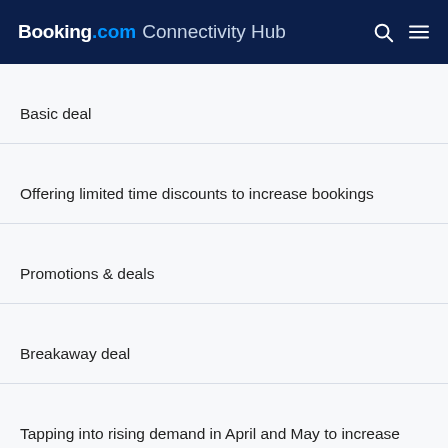Booking.com Connectivity Hub
Basic deal
Offering limited time discounts to increase bookings
Promotions & deals
Breakaway deal
Tapping into rising demand in April and May to increase bookings